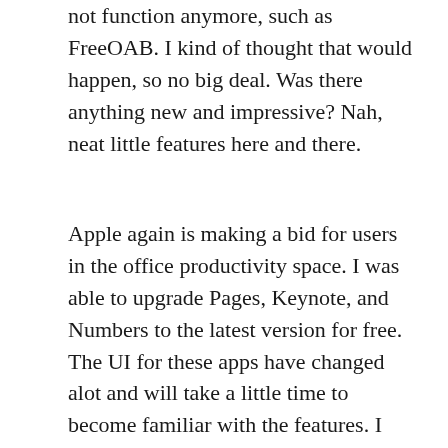not function anymore, such as FreeOAB. I kind of thought that would happen, so no big deal. Was there anything new and impressive? Nah, neat little features here and there.
Apple again is making a bid for users in the office productivity space. I was able to upgrade Pages, Keynote, and Numbers to the latest version for free. The UI for these apps have changed alot and will take a little time to become familiar with the features. I did test Pages to see how the new export to .docx file would come close to Microsoft. It is still not great and I do not recommend exporting out of a .page format to .docx. The formatting and layout when opening a converted .docx in Microsoft continue to have flaws.
Microsoft update on my Windows 8 to 8.1 also occurred this week. I really like Windows 8 and now 8.1. I do agree you need to have a touch screen to really use the OS